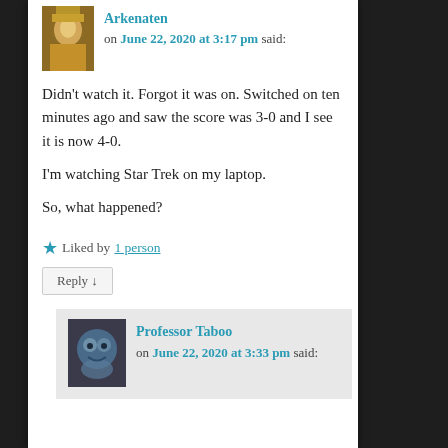Arkenaten on June 22, 2020 at 3:17 pm said:
Didn't watch it. Forgot it was on. Switched on ten minutes ago and saw the score was 3-0 and I see it is now 4-0.
I'm watching Star Trek on my laptop.

So, what happened?
★ Liked by 1 person
Reply ↓
Professor Taboo on June 22, 2020 at 3:33 pm said: